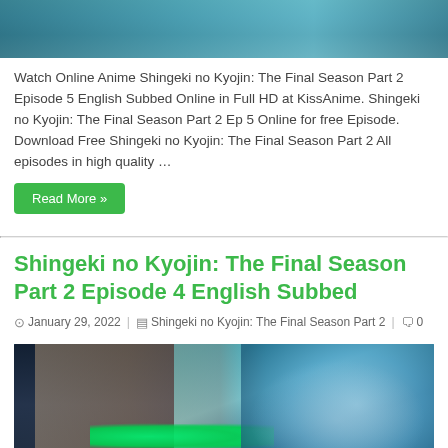[Figure (illustration): Top portion of anime illustration showing a character with dark hair, partial face visible, blue/teal tones]
Watch Online Anime Shingeki no Kyojin: The Final Season Part 2 Episode 5 English Subbed Online in Full HD at KissAnime. Shingeki no Kyojin: The Final Season Part 2 Ep 5 Online for free Episode. Download Free Shingeki no Kyojin: The Final Season Part 2 All episodes in high quality …
Read More »
Shingeki no Kyojin: The Final Season Part 2 Episode 4 English Subbed
January 29, 2022   Shingeki no Kyojin: The Final Season Part 2   0
[Figure (illustration): Anime illustration showing a character with dark hair and glowing green eyes, blue swirling background, with many smaller characters/figures on the right side]